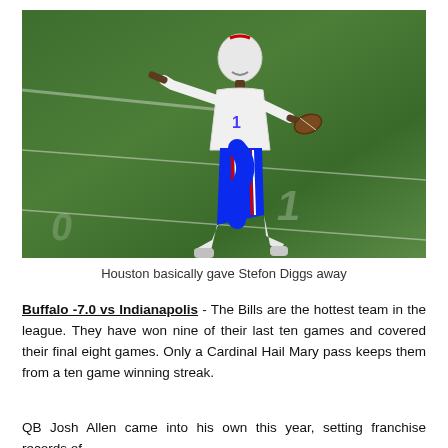[Figure (photo): NFL player in Buffalo Bills uniform (white jersey #1, blue pants with red stripe) running on a football field, holding a football, pointing with one hand. Green turf field background.]
Houston basically gave Stefon Diggs away
Buffalo -7.0 vs Indianapolis - The Bills are the hottest team in the league. They have won nine of their last ten games and covered their final eight games. Only a Cardinal Hail Mary pass keeps them from a ten game winning streak.
QB Josh Allen came into his own this year, setting franchise records of